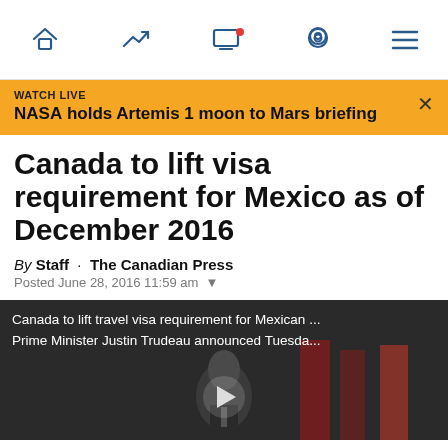Navigation bar with home, trending, live TV, location, and menu icons
WATCH LIVE
NASA holds Artemis 1 moon to Mars briefing
Canada to lift visa requirement for Mexico as of December 2016
By Staff · The Canadian Press
Posted June 28, 2016 11:59 am
[Figure (screenshot): Video thumbnail showing Prime Minister Justin Trudeau at a press conference with Canadian and Mexican flags in the background. Overlay text reads: 'Canada to lift travel visa requirement for Mexican ... Prime Minister Justin Trudeau announced Tuesda...' A play button is visible at the bottom center.]